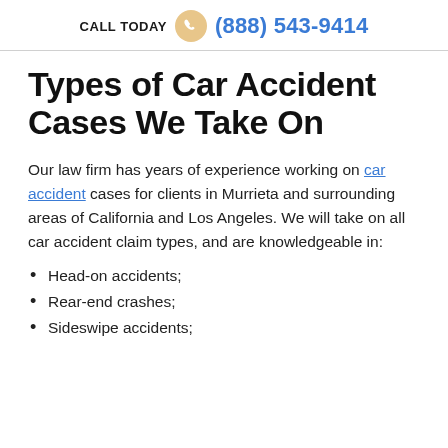CALL TODAY (888) 543-9414
Types of Car Accident Cases We Take On
Our law firm has years of experience working on car accident cases for clients in Murrieta and surrounding areas of California and Los Angeles. We will take on all car accident claim types, and are knowledgeable in:
Head-on accidents;
Rear-end crashes;
Sideswipe accidents;